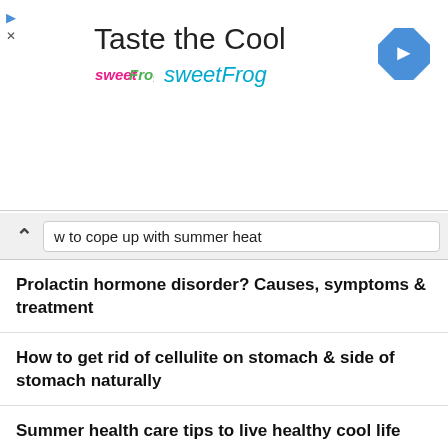[Figure (logo): sweetFrog advertisement banner with logo, tagline 'Taste the Cool', brand name 'sweetFrog', navigation arrow icon, play and close buttons]
w to cope up with summer heat
Prolactin hormone disorder? Causes, symptoms & treatment
How to get rid of cellulite on stomach & side of stomach naturally
Summer health care tips to live healthy cool life
Weight loss foods – Best healthy diet & Superfoods helps to lose weight
Best summer health tips for parents about their children